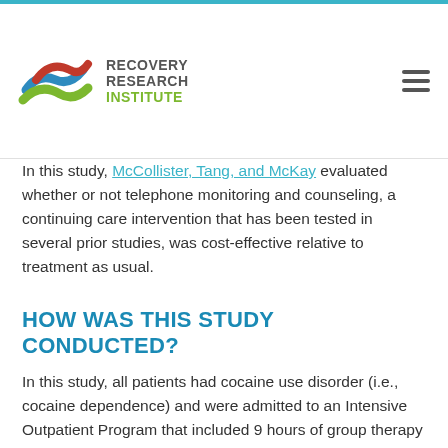Recovery Research Institute
In this study, McCollister, Tang, and McKay evaluated whether or not telephone monitoring and counseling, a continuing care intervention that has been tested in several prior studies, was cost-effective relative to treatment as usual.
HOW WAS THIS STUDY CONDUCTED?
In this study, all patients had cocaine use disorder (i.e., cocaine dependence) and were admitted to an Intensive Outpatient Program that included 9 hours of group therapy each week, with a planned treatment course of 3 to 4 months. Consistent with the authors' hypotheses, the original trial showed that adding telephone monitoring and